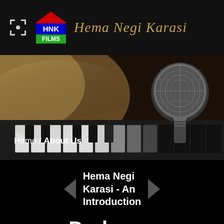HNK FILMS  Hema Negi Karasi
[Figure (photo): Close-up photo of a microphone resting on piano keys, with warm light glowing from the left. Monochrome with metallic tones.]
Home / About Us
Hema Negi Karasi - An Introduction
Prologue